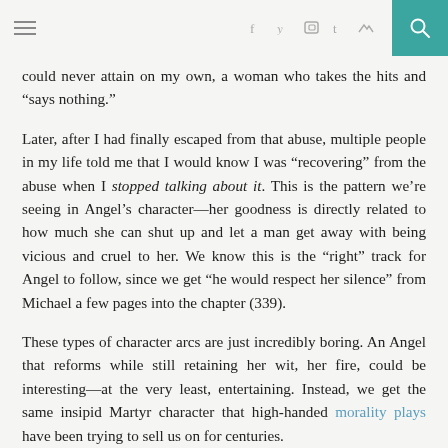[hamburger menu] [f] [twitter] [instagram] [tumblr] [rss] [search]
could never attain on my own, a woman who takes the hits and “says nothing.”
Later, after I had finally escaped from that abuse, multiple people in my life told me that I would know I was “recovering” from the abuse when I stopped talking about it. This is the pattern we’re seeing in Angel’s character—her goodness is directly related to how much she can shut up and let a man get away with being vicious and cruel to her. We know this is the “right” track for Angel to follow, since we get “he would respect her silence” from Michael a few pages into the chapter (339).
These types of character arcs are just incredibly boring. An Angel that reforms while still retaining her wit, her fire, could be interesting—at the very least, entertaining. Instead, we get the same insipid Martyr character that high-handed morality plays have been trying to sell us on for centuries.